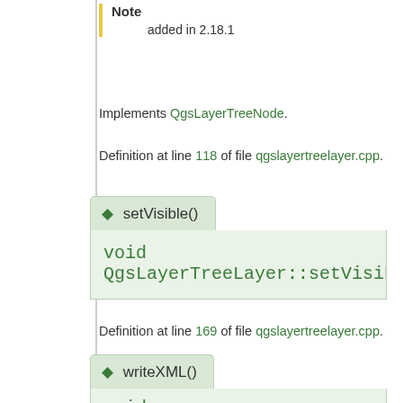Note
added in 2.18.1
Implements QgsLayerTreeNode.
Definition at line 118 of file qgslayertreelayer.cpp.
◆ setVisible()
void QgsLayerTreeLayer::setVisible ( Qt::Check
Definition at line 169 of file qgslayertreelayer.cpp.
◆ writeXML()
void